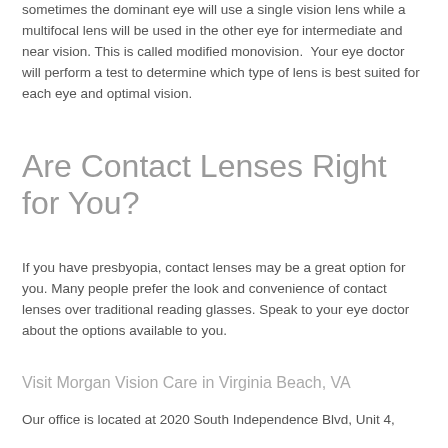Typically you will use single vision lenses in each eye however sometimes the dominant eye will use a single vision lens while a multifocal lens will be used in the other eye for intermediate and near vision. This is called modified monovision. Your eye doctor will perform a test to determine which type of lens is best suited for each eye and optimal vision.
Are Contact Lenses Right for You?
If you have presbyopia, contact lenses may be a great option for you. Many people prefer the look and convenience of contact lenses over traditional reading glasses. Speak to your eye doctor about the options available to you.
Visit Morgan Vision Care in Virginia Beach, VA
Our office is located at 2020 South Independence Blvd, Unit 4,